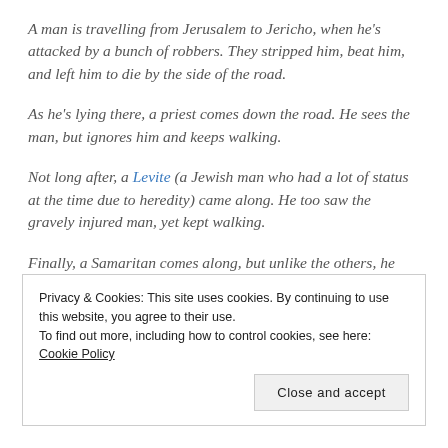A man is travelling from Jerusalem to Jericho, when he's attacked by a bunch of robbers. They stripped him, beat him, and left him to die by the side of the road.
As he's lying there, a priest comes down the road. He sees the man, but ignores him and keeps walking.
Not long after, a Levite (a Jewish man who had a lot of status at the time due to heredity) came along. He too saw the gravely injured man, yet kept walking.
Finally, a Samaritan comes along, but unlike the others, he went to
Privacy & Cookies: This site uses cookies. By continuing to use this website, you agree to their use. To find out more, including how to control cookies, see here: Cookie Policy
Close and accept